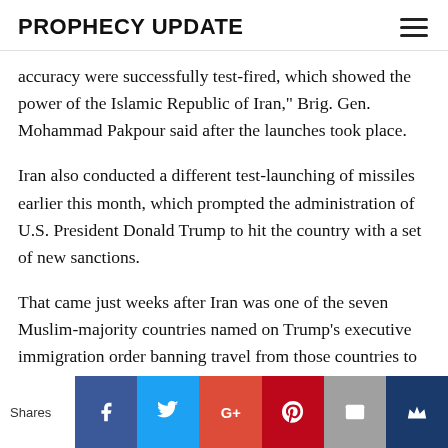PROPHECY UPDATE
accuracy were successfully test-fired, which showed the power of the Islamic Republic of Iran," Brig. Gen. Mohammad Pakpour said after the launches took place.
Iran also conducted a different test-launching of missiles earlier this month, which prompted the administration of U.S. President Donald Trump to hit the country with a set of new sanctions.
That came just weeks after Iran was one of the seven Muslim-majority countries named on Trump's executive immigration order banning travel from those countries to the U.S. While that executive order was eventually stayed...